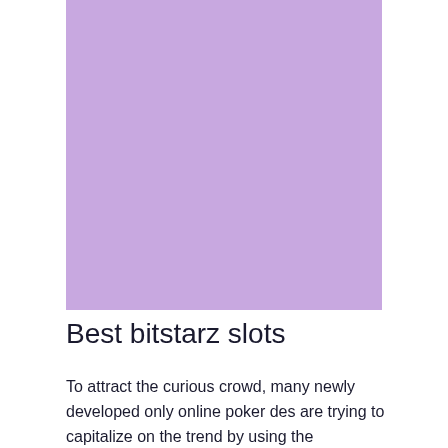[Figure (illustration): A solid lavender/purple colored rectangular block filling the upper portion of the page]
Best bitstarz slots
To attract the curious crowd, many newly developed only online poker des are trying to capitalize on the trend by using the cryptocurrency provision. best bitstarz slots